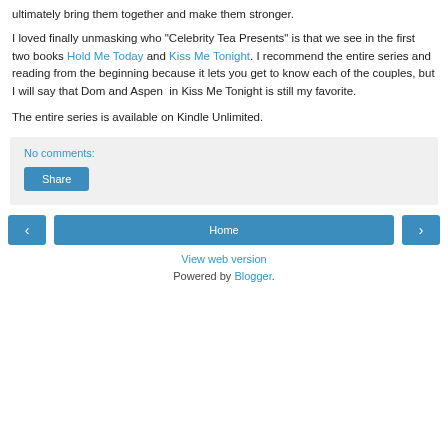ultimately bring them together and make them stronger.
I loved finally unmasking who "Celebrity Tea Presents" is that we see in the first two books Hold Me Today and Kiss Me Tonight. I recommend the entire series and reading from the beginning because it lets you get to know each of the couples, but I will say that Dom and Aspen in Kiss Me Tonight is still my favorite.
The entire series is available on Kindle Unlimited.
No comments:
Share
Home
View web version
Powered by Blogger.